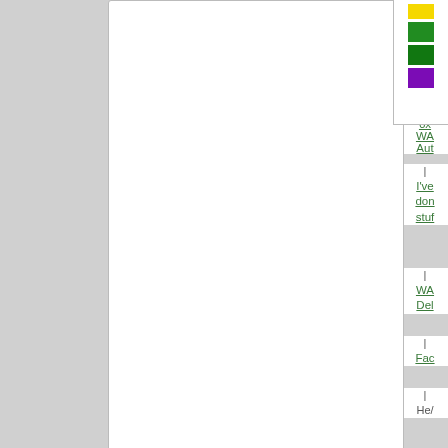[Figure (illustration): Color swatches: yellow, dark green, bright green, purple]
6x WA Aut
I've done stuff
WA Del
Fac
He/
[Figure (illustration): Quote button and scroll button at bottom of top panel]
[Figure (illustration): Avatar image of Hulldom showing eight lit candles on dark red candlesticks]
Hulldom
Diplomat
Posts: 996
Founded: Nov 16, 2018
by Hulldom
» Sat Dec 18, 2021 12:33